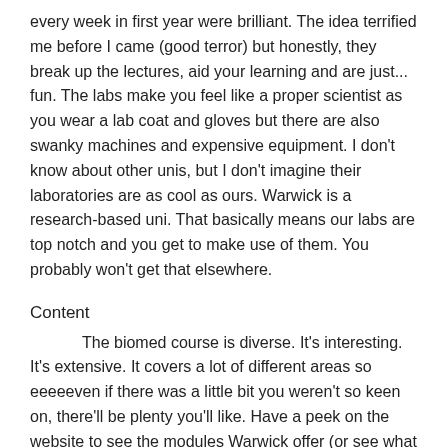every week in first year were brilliant. The idea terrified me before I came (good terror) but honestly, they break up the lectures, aid your learning and are just... fun. The labs make you feel like a proper scientist as you wear a lab coat and gloves but there are also swanky machines and expensive equipment. I don't know about other unis, but I don't imagine their laboratories are as cool as ours. Warwick is a research-based uni. That basically means our labs are top notch and you get to make use of them. You probably won't get that elsewhere.
Content
The biomed course is diverse. It's interesting. It's extensive. It covers a lot of different areas so eeeeeven if there was a little bit you weren't so keen on, there'll be plenty you'll like. Have a peek on the website to see the modules Warwick offer (or see what I chose: https://our.warwick.ac.uk/a-list-of-all-the-modules-i-took-and-my-thoughts-on-them/ ), but I reckon you'll come out with some really decent knowledge.
SLS
SLS, the School of Life Sciences, just makes me so happy. It's